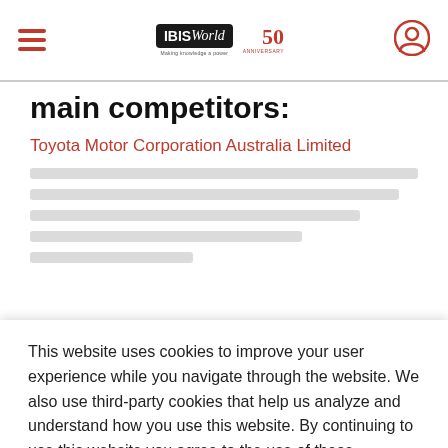IBISWorld 50th Anniversary — navigation bar with hamburger menu and user icon
main competitors:
Toyota Motor Corporation Australia Limited
[blurred/redacted content lines]
This website uses cookies to improve your user experience while you navigate through the website. We also use third-party cookies that help us analyze and understand how you use this website. By continuing to use this website you agree to the use of these technologies. LEARN MORE
ACCEPT